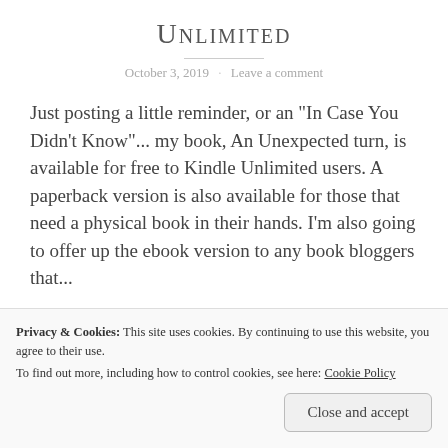Unlimited
October 3, 2019 · Leave a comment
Just posting a little reminder, or an "In Case You Didn't Know"... my book, An Unexpected turn, is available for free to Kindle Unlimited users. A paperback version is also available for those that need a physical book in their hands. I'm also going to offer up the ebook version to any book bloggers that...
Privacy & Cookies: This site uses cookies. By continuing to use this website, you agree to their use.
To find out more, including how to control cookies, see here: Cookie Policy
Close and accept